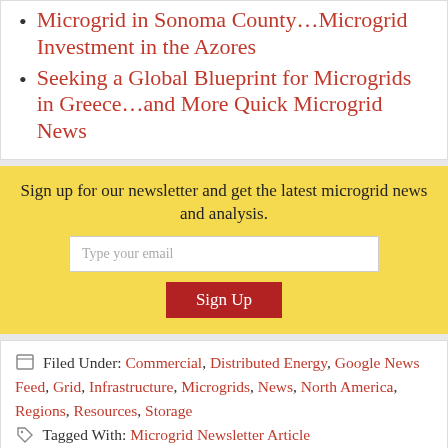Microgrid in Sonoma County…Microgrid Investment in the Azores
Seeking a Global Blueprint for Microgrids in Greece…and More Quick Microgrid News
Sign up for our newsletter and get the latest microgrid news and analysis.
Filed Under: Commercial, Distributed Energy, Google News Feed, Grid, Infrastructure, Microgrids, News, North America, Regions, Resources, Storage
Tagged With: Microgrid Newsletter Article
About Elisa Wood
Elisa Wood is the chief editor of